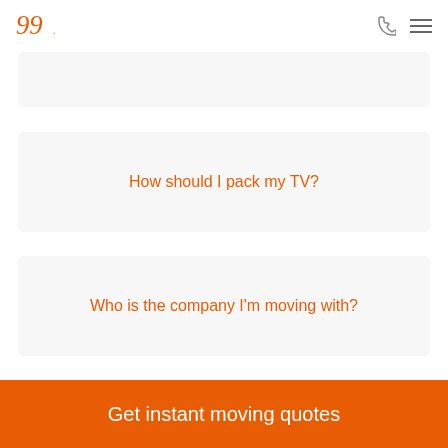Logo and navigation header
How should I pack my TV?
Who is the company I'm moving with?
Get instant moving quotes